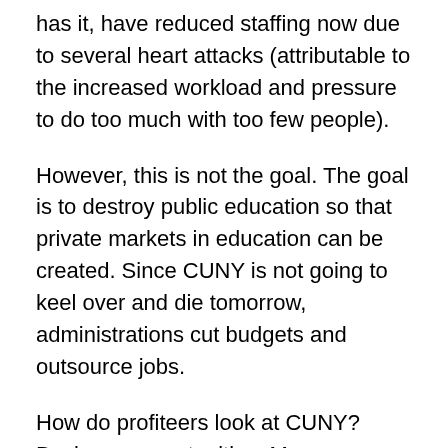has it, have reduced staffing now due to several heart attacks (attributable to the increased workload and pressure to do too much with too few people).
However, this is not the goal. The goal is to destroy public education so that private markets in education can be created. Since CUNY is not going to keel over and die tomorrow, administrations cut budgets and outsource jobs.
How do profiteers look at CUNY? Business opportunities. More assessment = more consultants, curricular and other materials to sell to CUNY; Increased tuition = more student loans (and more loans to sell in repo markets), decaying building = more opportunities to gouge CUNY on supplies and services, closing CUNY campus = fire department...